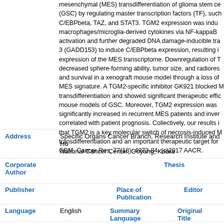mesenchymal (MES) transdifferentiation of glioma stem cells (GSC) by regulating master transcription factors (TF), such as C/EBPbeta, TAZ, and STAT3. TGM2 expression was induced by macrophages/microglia-derived cytokines via NF-kappaB activation and further degraded DNA damage-inducible transcript 3 (GADD153) to induce C/EBPbeta expression, resulting in expression of the MES transcriptome. Downregulation of TGM2 decreased sphere-forming ability, tumor size, and radioresistance and survival in a xenograft mouse model through a loss of the MES signature. A TGM2-specific inhibitor GK921 blocked MES transdifferentiation and showed significant therapeutic efficacy in mouse models of GSC. Moreover, TGM2 expression was significantly increased in recurrent MES patients and inversely correlated with patient prognosis. Collectively, our results indicate that TGM2 is a key molecular switch of necrosis-induced MES transdifferentiation and an important therapeutic target for GBM. Cancer Res; 77(18); 4973-84. (c)2017 AACR.
Address: Specific Organs Cancer Branch, Research Institute and Hospital, National Cancer Center, Goyang, Korea
Corporate Author
Thesis
Publisher
Place of Publication
Editor
Language
English
Summary Language
Original Title
Series Editor
Series Title
Abbreviated Series Title